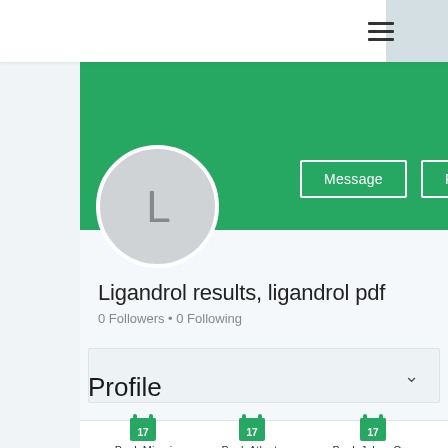[Figure (screenshot): Mobile app screenshot showing a user profile page with green banner, avatar with letter L, Message and Follow buttons, profile name 'Ligandrol results, ligandrol pdf', 0 Followers 0 Following, dropdown box with chevron, Profile section header, and book calendar icons for Book Miami, Book Atlanta, Book Johns Cr...]
Ligandrol results, ligandrol pdf
0 Followers • 0 Following
Profile
Book Miami
Book Atlanta
Book Johns Cr...